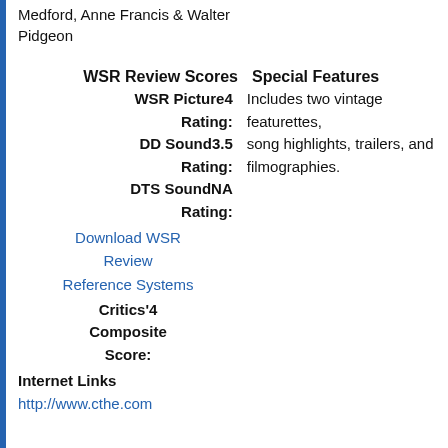Medford, Anne Francis & Walter Pidgeon
WSR Review Scores  Special Features
WSR Picture4
Rating:
DD Sound3.5
Rating:
DTS SoundNA
Rating:
Includes two vintage featurettes, song highlights, trailers, and filmographies.
Download WSR
Review
Reference Systems
Critics'4
Composite
Score:
Internet Links
http://www.cthe.com